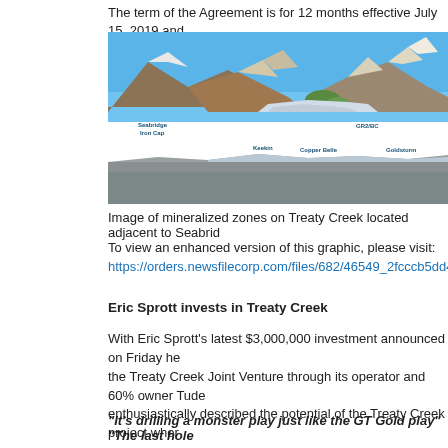The term of the Agreement is for 12 months effective July 15, 2019 and
[Figure (photo): Panoramic mountain landscape photograph showing mineralized zones on Treaty Creek with labeled locations: Seabridge Iron Cap, Keekin, Copper Belle, GR2/BC, and Goldstorm. Snow-capped mountains with glacier in summer conditions.]
Image of mineralized zones on Treaty Creek located adjacent to Seabrid
To view an enhanced version of this graphic, please visit:
https://orders.newsfilecorp.com/files/682/46549_2fcccb5dd48ccaa5_00
Eric Sprott invests in Treaty Creek
With Eric Sprott's latest $3,000,000 investment announced on Friday he the Treaty Creek Joint Venture through its operator and 60% owner Tude enthusiastically described the potential of the Treaty Creek project wher
“It’s drilling a monster play just like the GT Gold play” “The last hole